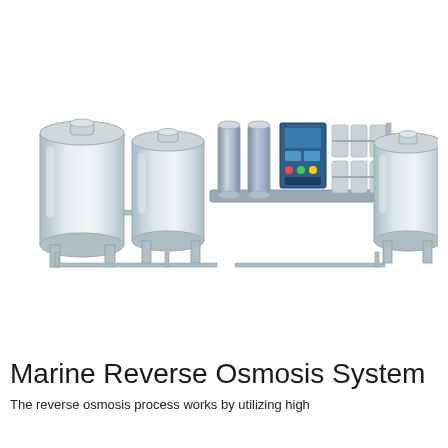[Figure (schematic): Industrial Marine Reverse Osmosis System consisting of multiple stainless steel tanks (two large tanks on the left, one on the right), a central filtration and processing unit with blue control panel, membrane housings, and interconnecting pipes and valves, all mounted on a common skid frame.]
Marine Reverse Osmosis System
The reverse osmosis process works by utilizing high